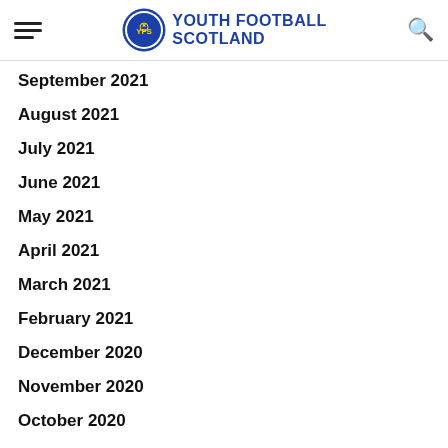Youth Football Scotland
September 2021
August 2021
July 2021
June 2021
May 2021
April 2021
March 2021
February 2021
December 2020
November 2020
October 2020
September 2020
August 2020
July 2020
June 2020